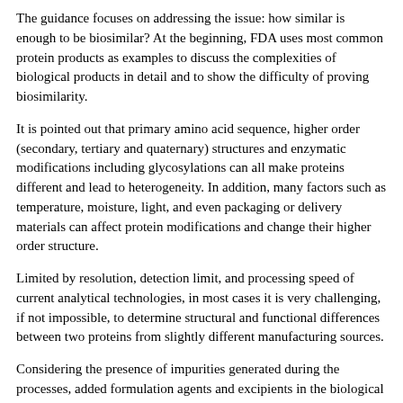The guidance focuses on addressing the issue: how similar is enough to be biosimilar? At the beginning, FDA uses most common protein products as examples to discuss the complexities of biological products in detail and to show the difficulty of proving biosimilarity.
It is pointed out that primary amino acid sequence, higher order (secondary, tertiary and quaternary) structures and enzymatic modifications including glycosylations can all make proteins different and lead to heterogeneity. In addition, many factors such as temperature, moisture, light, and even packaging or delivery materials can affect protein modifications and change their higher order structure.
Limited by resolution, detection limit, and processing speed of current analytical technologies, in most cases it is very challenging, if not impossible, to determine structural and functional differences between two proteins from slightly different manufacturing sources.
Considering the presence of impurities generated during the processes, added formulation agents and excipients in the biological products, the degree of certainty of using structural analysis and functional assays to determine the biosimilarity of two proteins is not high at all.